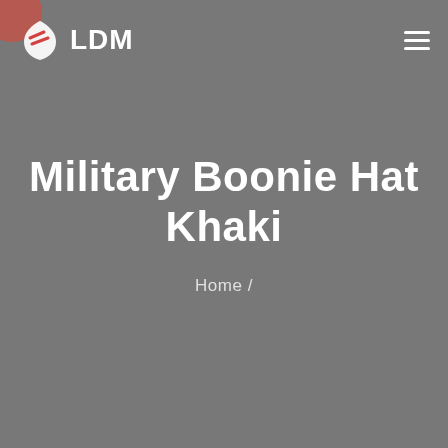[Figure (logo): LDM logo with shield/leaf icon containing red lines, white text LDM beside it]
Military Boonie Hat Khaki
Home /